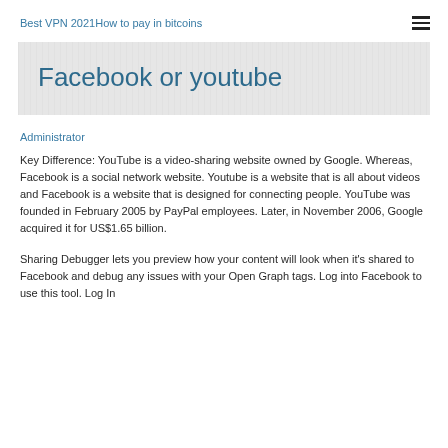Best VPN 2021How to pay in bitcoins
Facebook or youtube
Administrator
Key Difference: YouTube is a video-sharing website owned by Google. Whereas, Facebook is a social network website. Youtube is a website that is all about videos and Facebook is a website that is designed for connecting people. YouTube was founded in February 2005 by PayPal employees. Later, in November 2006, Google acquired it for US$1.65 billion.
Sharing Debugger lets you preview how your content will look when it's shared to Facebook and debug any issues with your Open Graph tags. Log into Facebook to use this tool. Log In